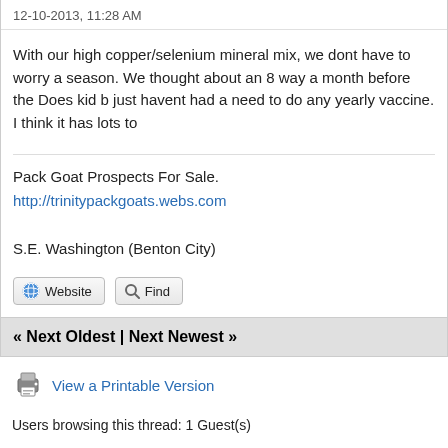12-10-2013, 11:28 AM
With our high copper/selenium mineral mix, we dont have to worry a season. We thought about an 8 way a month before the Does kid b just havent had a need to do any yearly vaccine. I think it has lots to
Pack Goat Prospects For Sale. http://trinitypackgoats.webs.com
S.E. Washington (Benton City)
« Next Oldest | Next Newest »
View a Printable Version
Users browsing this thread: 1 Guest(s)
Forum Team   Contact Us   Pack Goat Central   Return to Top   Lite (Archive) M
Powered By MyBB, © 2002-2022 MyBB Group.